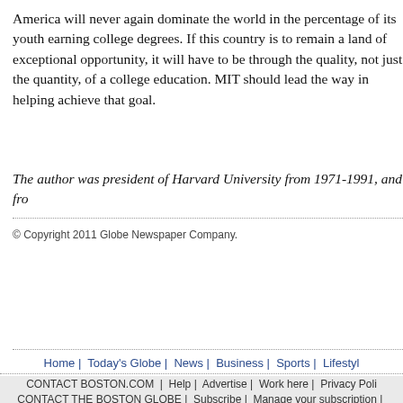America will never again dominate the world in the percentage of its youth earning college degrees. If this country is to remain a land of exceptional opportunity, it will have to be through the quality, not just the quantity, of a college education. MIT should lead the way in helping achieve that goal.
The author was president of Harvard University from 1971-1991, and fro…
© Copyright 2011 Globe Newspaper Company.
Home | Today's Globe | News | Business | Sports | Lifestyl…
CONTACT BOSTON.COM | Help | Advertise | Work here | Privacy Poli…
CONTACT THE BOSTON GLOBE | Subscribe | Manage your subscription | Advertise…